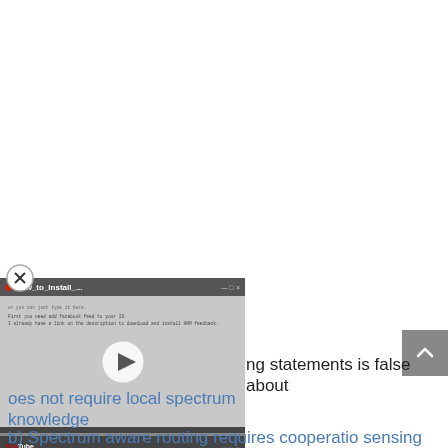[Figure (screenshot): A video player overlay showing a YouTube video titled 'How_to_Install_...' with a play button in the center, a close (X) button in the upper-left corner, and a scroll-to-top button on the right side.]
ng statements is false about
oes not require local spectrum knowledge
b) Spectrum aware routing requires cooperatio sensing